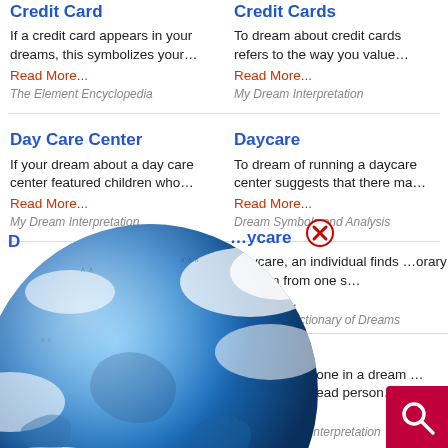Credit Card
If a credit card appears in your dreams, this symbolizes your…
Read More...
The Element Encyclopedia
Credit Cards
To dream about credit cards refers to the way you value…
Read More...
My Dream Interpretation
Day Care Center
If your dream about a day care center featured children who…
Read More...
My Dream Interpretation
Daycare
To dream of running a daycare center suggests that there ma…
Read More...
Dream Symbols and Analysis
D…
…ycare
…aycare, an individual finds …orary freedom from one s…
…d More...
…omplete Dictionary of Dreams
…scarded
…discarded stone in a dream …represents a dead person……
Read More...
Islamic Dream Interpretation
[Figure (logo): Dream Encyclopedia globe logo with blue world and clouds, text 'Dream Encyclopedia']